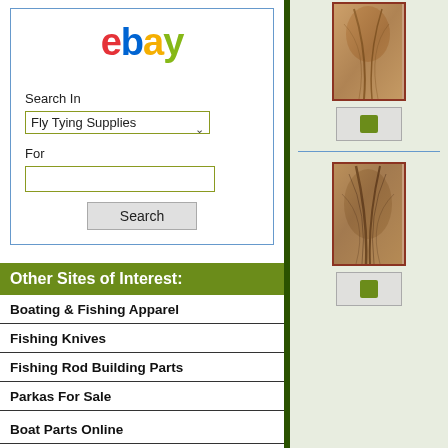[Figure (logo): eBay logo in red, blue, yellow, green letters]
Search In
Fly Tying Supplies (dropdown)
For
Search (button)
Other Sites of Interest:
Boating & Fishing Apparel
Fishing Knives
Fishing Rod Building Parts
Parkas For Sale
Boat Parts Online
Boat Seats for Sale
Marine Electronics
[Figure (photo): Close-up photo of fishing fly tying feather/fur material, top]
[Figure (screenshot): Button placeholder, top right]
[Figure (photo): Close-up photo of fishing fly tying feather/fur material, bottom]
[Figure (screenshot): Button placeholder, bottom right]